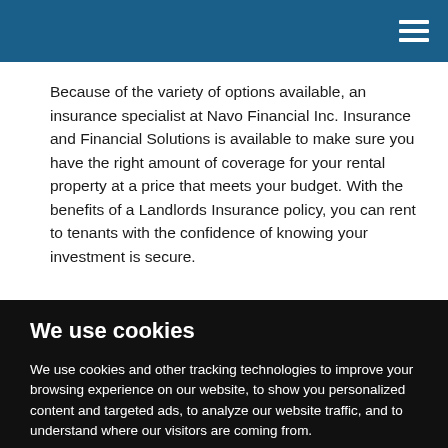Because of the variety of options available, an insurance specialist at Navo Financial Inc. Insurance and Financial Solutions is available to make sure you have the right amount of coverage for your rental property at a price that meets your budget. With the benefits of a Landlords Insurance policy, you can rent to tenants with the confidence of knowing your investment is secure.
We use cookies
We use cookies and other tracking technologies to improve your browsing experience on our website, to show you personalized content and targeted ads, to analyze our website traffic, and to understand where our visitors are coming from.